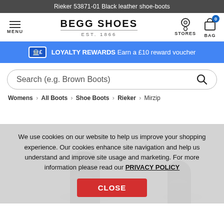Rieker 53871-01 Black leather shoe-boots
[Figure (logo): Begg Shoes logo with EST. 1866 tagline, hamburger menu icon, stores icon, and shopping bag icon with badge 0]
LOYALTY REWARDS Earn a £10 reward voucher
Search (e.g. Brown Boots)
Womens > All Boots > Shoe Boots > Rieker > Mirzip
[Figure (photo): Partial product image of black leather shoe-boots at the bottom of the page]
We use cookies on our website to help us improve your shopping experience. Our cookies enhance site navigation and help us understand and improve site usage and marketing. For more information please read our PRIVACY POLICY